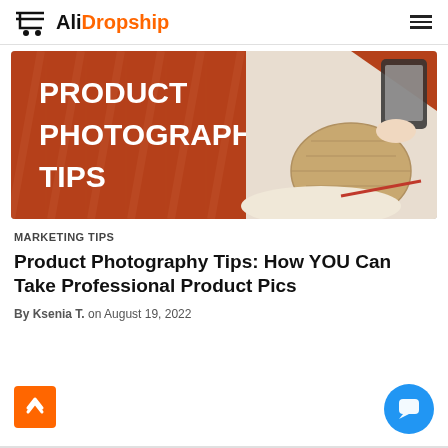AliDropship
[Figure (illustration): Hero banner with burnt orange background showing text 'PRODUCT PHOTOGRAPHY TIPS' on the left side, and a photo of a person taking a photo of a wicker bag and hat with a smartphone on the right side.]
MARKETING TIPS
Product Photography Tips: How YOU Can Take Professional Product Pics
By Ksenia T. on August 19, 2022